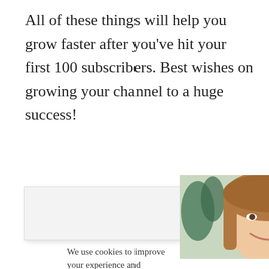All of these things will help you grow faster after you've hit your first 100 subscribers. Best wishes on growing your channel to a huge success!
[Figure (photo): Screenshot of a webpage card showing a smiling woman with long brown hair, with a light background containing plants.]
We use cookies to improve your experience and provide relevant ads. To find out more, read our privacy
[Figure (photo): Advertisement banner image showing an airplane being loaded with cargo, with a gray overlay banner reading 'WITHOUT REGARD TO POLITICS, RELIGION OR ABILITY TO PAY'.]